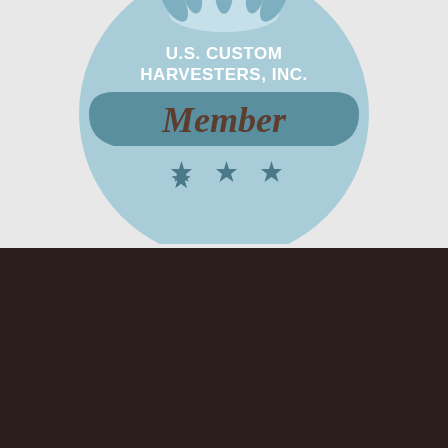[Figure (logo): U.S. Custom Harvesters, Inc. Member badge — circular light-blue badge with wheat/grain emblem at top, text 'U.S. CUSTOM HARVESTERS, INC.' in white bold, dark teal ribbon banner with 'Member' in brown serif font, and three teal stars at bottom.]
[Figure (logo): Kooima AG logo — red rectangle containing 'KOOIMA' in white bold sans-serif with stylized K, followed by 'AG' in white bold sans-serif outside the red box.]
2642 Rock Ridge Road
Rock Valley, IA 51247 USA
Toll Free 1.800.522.8874